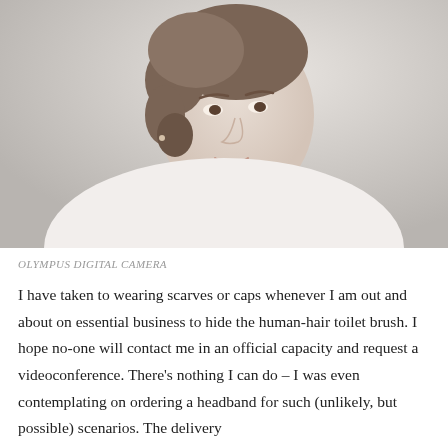[Figure (photo): Portrait photograph of a woman with short brown hair styled up, wearing a white top, smiling, photographed against a light grey/white background. Black and white / desaturated tones.]
OLYMPUS DIGITAL CAMERA
I have taken to wearing scarves or caps whenever I am out and about on essential business to hide the human-hair toilet brush. I hope no-one will contact me in an official capacity and request a videoconference. There’s nothing I can do – I was even contemplating on ordering a headband for such (unlikely, but possible) scenarios. The delivery